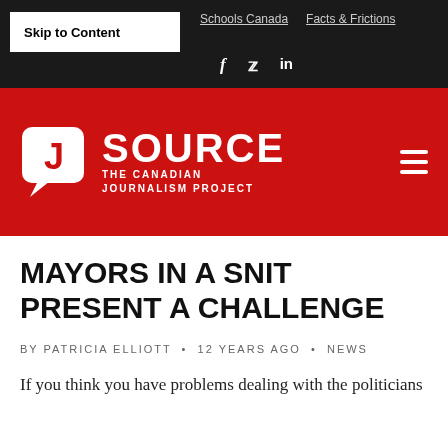Skip to Content | Schools Canada | Facts & Frictions | f | in
[Figure (logo): J-Source: The Canadian Journalism Project logo on red background with hamburger menu icon]
MAYORS IN A SNIT PRESENT A CHALLENGE
BY PATRICIA ELLIOTT • 12 YEARS AGO • NEWS
If you think you have problems dealing with the politicians